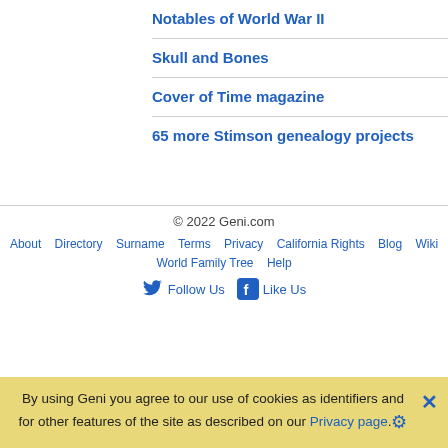Notables of World War II
Skull and Bones
Cover of Time magazine
65 more Stimson genealogy projects
© 2022 Geni.com
About · Directory · Surname · Terms · Privacy · California Rights · Blog · Wiki · World Family Tree · Help
Follow Us  Like Us
By using Geni you agree to our use of cookies as identifiers and for other features of the site as described on our Privacy page.